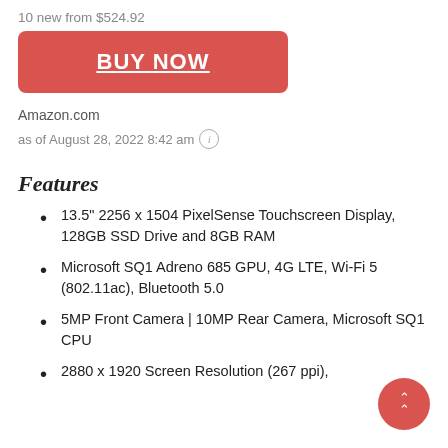10 new from $524.92
BUY NOW
Amazon.com
as of August 28, 2022 8:42 am ℹ
Features
13.5" 2256 x 1504 PixelSense Touchscreen Display, 128GB SSD Drive and 8GB RAM
Microsoft SQ1 Adreno 685 GPU, 4G LTE, Wi-Fi 5 (802.11ac), Bluetooth 5.0
5MP Front Camera | 10MP Rear Camera, Microsoft SQ1 CPU
2880 x 1920 Screen Resolution (267 ppi),